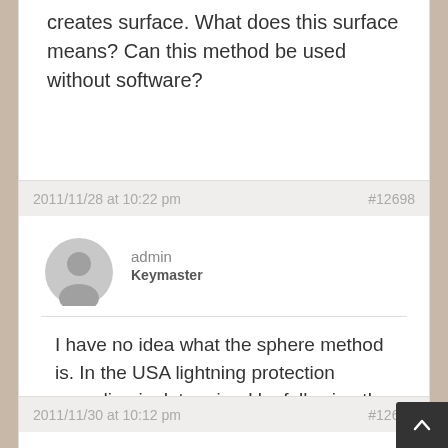creates surface. What does this surface means? Can this method be used without software?
2011/11/28 at 10:22 pm   #12698
admin
Keymaster
I have no idea what the sphere method is. In the USA lightning protection gounding is determined by following the IEEE standard, the Green Book, Standard No. 142, Chapter 3.
2011/11/30 at 10:12 pm   #12670
admin